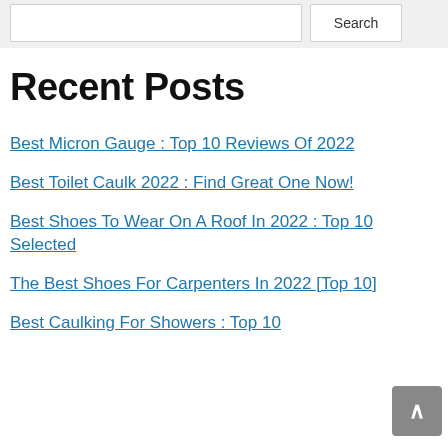Search
Recent Posts
Best Micron Gauge : Top 10 Reviews Of 2022
Best Toilet Caulk 2022 : Find Great One Now!
Best Shoes To Wear On A Roof In 2022 : Top 10 Selected
The Best Shoes For Carpenters In 2022 [Top 10]
Best Caulking For Showers : Top 10